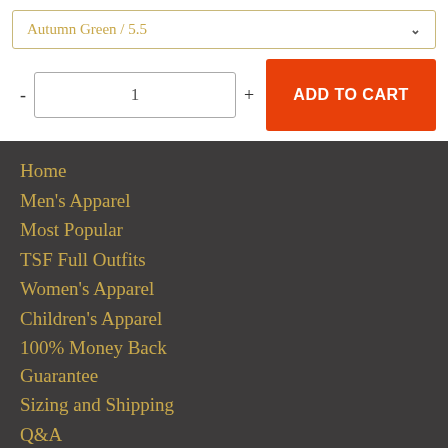Autumn Green / 5.5
- 1 + ADD TO CART
Home
Men's Apparel
Most Popular
TSF Full Outfits
Women's Apparel
Children's Apparel
100% Money Back Guarantee
Sizing and Shipping
Q&A
Contact Us